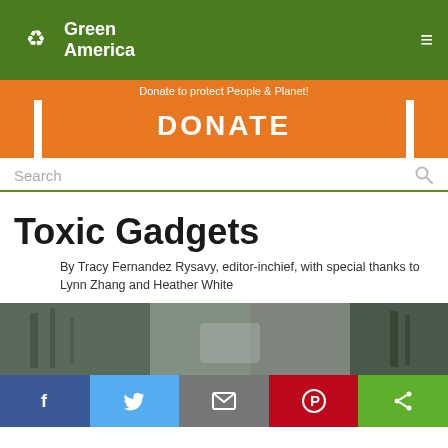Green America
Donate to protect People & Planet!
DONATE
Search
Toxic Gadgets
By Tracy Fernandez Rysavy, editor-inchief, with special thanks to Lynn Zhang and Heather White
[Figure (photo): Industrial or electronic waste workers scene, blurred background]
f
Twitter bird icon
Email icon
Pinterest icon
Share icon